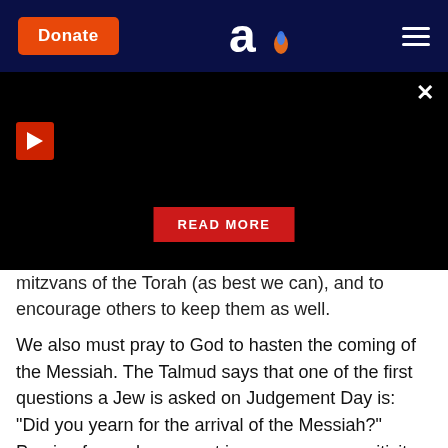[Figure (screenshot): Website header with dark navy background, orange Donate button on left, Aish.com logo (stylized 'a' with flame) in center, hamburger menu icon on right]
[Figure (screenshot): Black video player area with red play button in upper left, X close button in upper right, and red READ MORE button centered near bottom]
mitzvans of the Torah (as best we can), and to encourage others to keep them as well.
We also must pray to God to hasten the coming of the Messiah. The Talmud says that one of the first questions a Jew is asked on Judgement Day is: "Did you yearn for the arrival of the Messiah?" Praying for such an event increases our sensitivity to what we currently lack, and demonstrates our sincere desire for the Messiah to arrive.